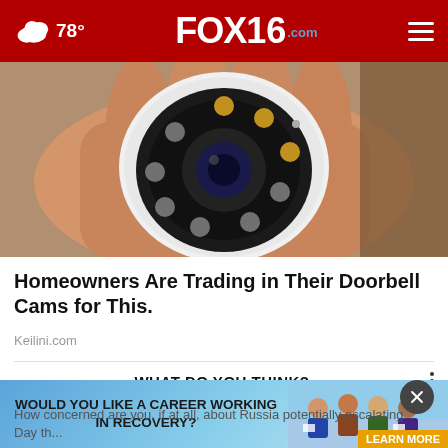FOX16.com — 78°
[Figure (photo): Hand holding a small white security camera with circular lens and LED lights]
Homeowners Are Trading in Their Doorbell Cams for This.
Keilini.com
WHAT DO YOU THINK?
How concerned are you, if at all, about Russia potentially escalating... Day th...
[Figure (advertisement): Ad banner: WOULD YOU LIKE A CAREER WORKING IN RECOVERY? with LEARN MORE button]